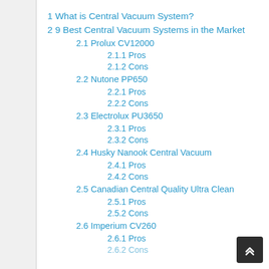1 What is Central Vacuum System?
2 9 Best Central Vacuum Systems in the Market
2.1 Prolux CV12000
2.1.1 Pros
2.1.2 Cons
2.2 Nutone PP650
2.2.1 Pros
2.2.2 Cons
2.3 Electrolux PU3650
2.3.1 Pros
2.3.2 Cons
2.4 Husky Nanook Central Vacuum
2.4.1 Pros
2.4.2 Cons
2.5 Canadian Central Quality Ultra Clean
2.5.1 Pros
2.5.2 Cons
2.6 Imperium CV260
2.6.1 Pros
2.6.2 Cons